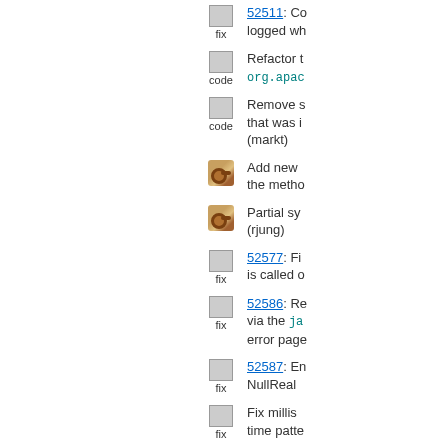52511: Co... logged wh...
Refactor t... org.apac...
Remove s... that was i... (markt)
Add new ... the metho...
Partial sy... (rjung)
52577: Fi... is called o...
52586: Re... via the ja... error page...
52587: En... NullReal...
Fix millis... time patte...
52591: W... Unsuppor...
52607: F...